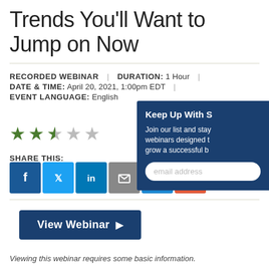Trends You'll Want to Jump on Now
RECORDED WEBINAR | DURATION: 1 Hour | DATE & TIME: April 20, 2021, 1:00pm EDT | EVENT LANGUAGE: English
[Figure (illustration): Star rating showing approximately 2.5 out of 5 stars, with 2 filled green stars, 1 half-filled green star, and 2 empty grey stars]
SHARE THIS:
[Figure (infographic): Social share buttons: Facebook, Twitter, LinkedIn, Email, Link, and More (+)]
[Figure (infographic): Sidebar popup: Keep Up With S... Join our list and stay... webinars designed t... grow a successful b... with email address input field]
View Webinar ▶
Viewing this webinar requires some basic information.